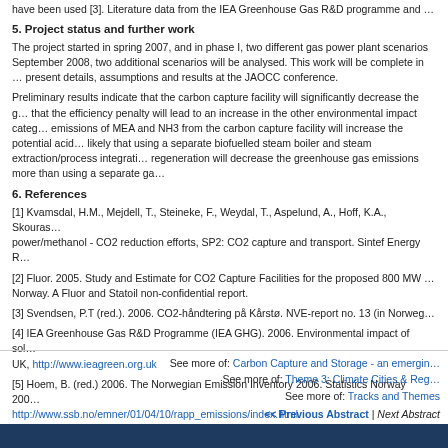have been used [3]. Literature data from the IEA Greenhouse Gas R&D programme and …
5. Project status and further work
The project started in spring 2007, and in phase I, two different gas power plant scenarios … September 2008, two additional scenarios will be analysed. This work will be complete in … present details, assumptions and results at the JAOCC conference.
Preliminary results indicate that the carbon capture facility will significantly decrease the g… that the efficiency penalty will lead to an increase in the other environmental impact catego… emissions of MEA and NH3 from the carbon capture facility will increase the potential acid… likely that using a separate biofuelled steam boiler and steam extraction/process integrati… regeneration will decrease the greenhouse gas emissions more than using a separate ga…
6. References
[1] Kvamsdal, H.M., Mejdell, T., Steineke, F., Weydal, T., Aspelund, A., Hoff, K.A., Skouras… power/methanol - CO2 reduction efforts, SP2: CO2 capture and transport. Sintef Energy R…
[2] Fluor. 2005. Study and Estimate for CO2 Capture Facilities for the proposed 800 MW … Norway. A Fluor and Statoil non-confidential report.
[3] Svendsen, P.T (red.). 2006. CO2-håndtering på Kårstø. NVE-report no. 13 (in Norweg…
[4] IEA Greenhouse Gas R&D Programme (IEA GHG). 2006. Environmental impact of sol… UK, http://www.ieagreen.org.uk
[5] Hoem, B. (red.) 2006. The Norwegian Emission Inventory 2006. Statistics Norway 200… http://www.ssb.no/emner/01/04/10/rapp_emissions/index.html
See more of: Carbon Capture and Storage - an emergin… | See more of: Theme 3: Climate Cities & Reg… | See more of: Tracks and Themes | << Previous Abstract | Next Abstract